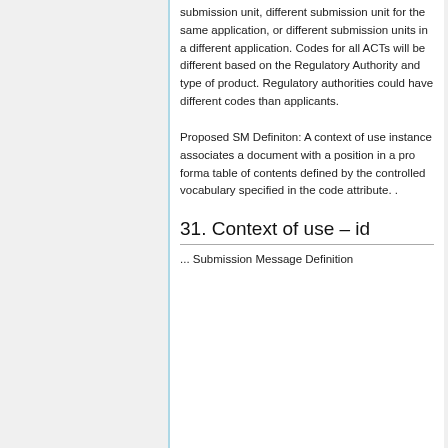submission unit, different submission unit for the same application, or different submission units in a different application. Codes for all ACTs will be different based on the Regulatory Authority and type of product. Regulatory authorities could have different codes than applicants.
Proposed SM Definiton: A context of use instance associates a document with a position in a pro forma table of contents defined by the controlled vocabulary specified in the code attribute. .
31. Context of use – id
... Submission Message Definition